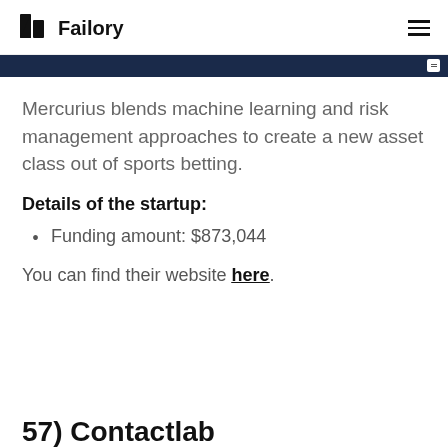Failory
[Figure (screenshot): Dark navy blue horizontal bar with a small white icon on the right side]
Mercurius blends machine learning and risk management approaches to create a new asset class out of sports betting.
Details of the startup:
Funding amount: $873,044
You can find their website here.
57) Contactlab